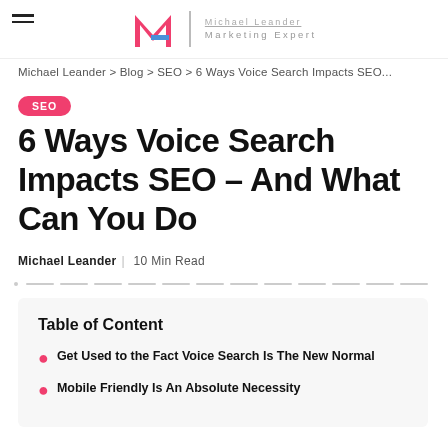Michael Leander Marketing Expert (logo/header bar)
Michael Leander > Blog > SEO > 6 Ways Voice Search Impacts SEO...
SEO
6 Ways Voice Search Impacts SEO – And What Can You Do
Michael Leander | 10 Min Read
Table of Content
Get Used to the Fact Voice Search Is The New Normal
Mobile Friendly Is An Absolute Necessity